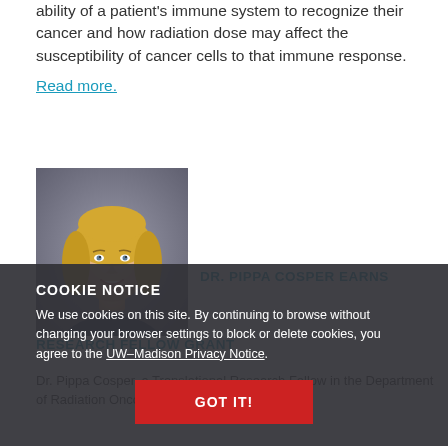ability of a patient's immune system to recognize their cancer and how radiation dose may affect the susceptibility of cancer cells to that immune response. Read more.
[Figure (photo): Headshot photo of Dr. Pippa Cosper, a woman with blonde hair smiling, against a gray background]
DR. PIPPA COSPER EARNS
RESEARCH FELLOW GRANT
Dr. Pippa Cosper, a Translational Research Fellow in the Department of Radiation Oncology, recently
COOKIE NOTICE
We use cookies on this site. By continuing to browse without changing your browser settings to block or delete cookies, you agree to the UW–Madison Privacy Notice.